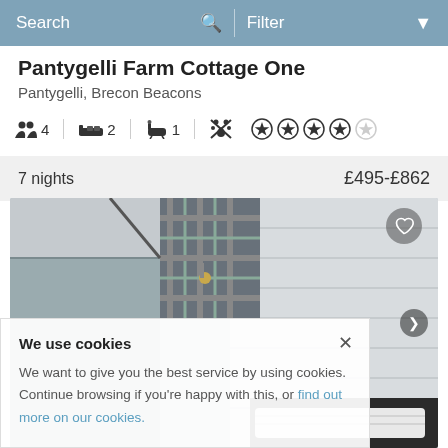Search   Filter
Pantygelli Farm Cottage One
Pantygelli, Brecon Beacons
4 guests  2 bedrooms  1 bathroom  No pets  4 stars rating
7 nights   £495-£862
[Figure (photo): Interior photo of a cottage bedroom with light grey/white wooden panelled walls, tartan cushion, and bedding visible]
We use cookies

We want to give you the best service by using cookies. Continue browsing if you're happy with this, or find out more on our cookies.